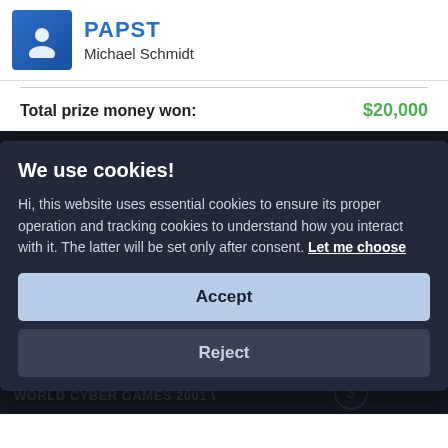PAPST / Michael Schmidt
Total prize money won: $20,000
TEAM/SOLO ACHIEVEMENTS
We use cookies!

Hi, this website uses essential cookies to ensure its proper operation and tracking cookies to understand how you interact with it. The latter will be set only after consent. Let me choose
Accept
Reject
WORLD CYBER GAMES 2001 \